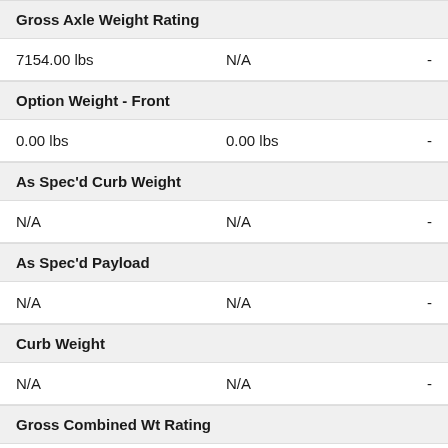Gross Axle Weight Rating
7154.00 lbs   N/A   -
Option Weight - Front
0.00 lbs   0.00 lbs   -
As Spec'd Curb Weight
N/A   N/A   -
As Spec'd Payload
N/A   N/A   -
Curb Weight
N/A   N/A   -
Gross Combined Wt Rating
N/A   N/A   -